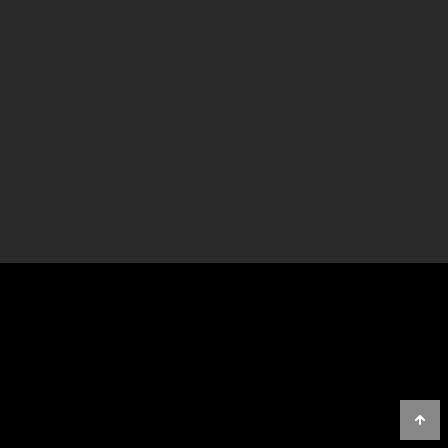[Figure (photo): Dark gray/charcoal background panel occupying the top portion of the page]
TENDANCES RAP FR
Maes est devenu plus solide que Booba… Sa transformation physique est impressionnante
Gambino a le seum de ne pas être dans le Classico de JUL
Le duo Lacrim Mister You dans Classico Organisé est bouillant